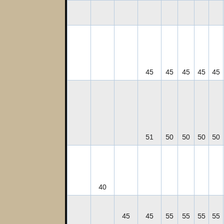|  |  |  |  |  |  |  |  |  |
|  |  |  |  | 45 | 45 | 45 | 45 | 45 |
|  |  |  |  | 51 | 50 | 50 | 50 | 50 |
|  | 40 |  |  |  |  |  |  |  |
|  |  | 45 | 45 | 55 | 55 | 55 | 55 | 55 |